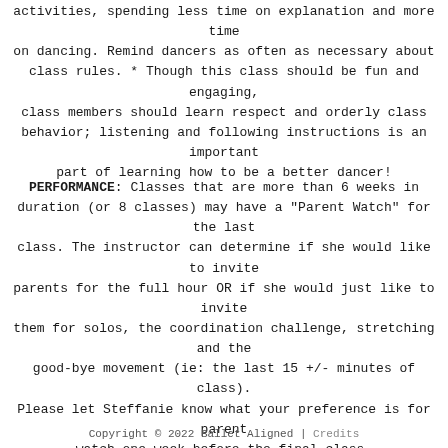activities, spending less time on explanation and more time on dancing. Remind dancers as often as necessary about class rules. * Though this class should be fun and engaging, class members should learn respect and orderly class behavior; listening and following instructions is an important part of learning how to be a better dancer!
PERFORMANCE: Classes that are more than 6 weeks in duration (or 8 classes) may have a "Parent Watch" for the last class. The instructor can determine if she would like to invite parents for the full hour OR if she would just like to invite them for solos, the coordination challenge, stretching and the good-bye movement (ie: the last 15 +/- minutes of class). Please let Steffanie know what your preference is for parent watch one week before the final class.
Copyright © 2022 Ballet Aligned | Credits